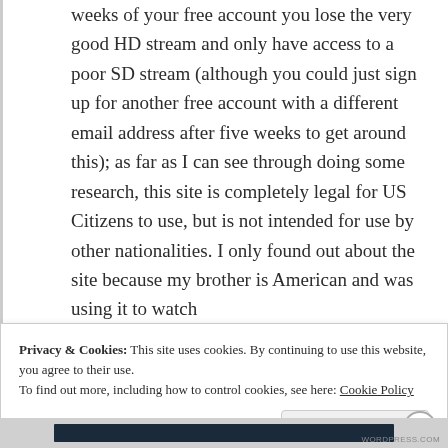weeks of your free account you lose the very good HD stream and only have access to a poor SD stream (although you could just sign up for another free account with a different email address after five weeks to get around this); as far as I can see through doing some research, this site is completely legal for US Citizens to use, but is not intended for use by other nationalities. I only found out about the site because my brother is American and was using it to watch
Privacy & Cookies: This site uses cookies. By continuing to use this website, you agree to their use.
To find out more, including how to control cookies, see here: Cookie Policy